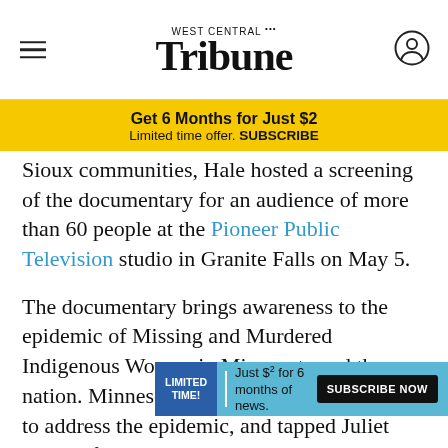West Central Tribune
Get 6 Months for Just $2
Limited time offer. SUBSCRIBE
Sioux communities, Hale hosted a screening of the documentary for an audience of more than 60 people at the Pioneer Public Television studio in Granite Falls on May 5.
The documentary brings awareness to the epidemic of Missing and Murdered Indigenous Women in Minnesota and the nation. Minnesota recently opened an office to address the epidemic, and tapped Juliet Rudie of the Lower Sioux Community to lead it.
While [LIMITED TIME!] Just $2 for 6 months of news. SUBSCRIBE NOW f the state's population, they account for 8% of all